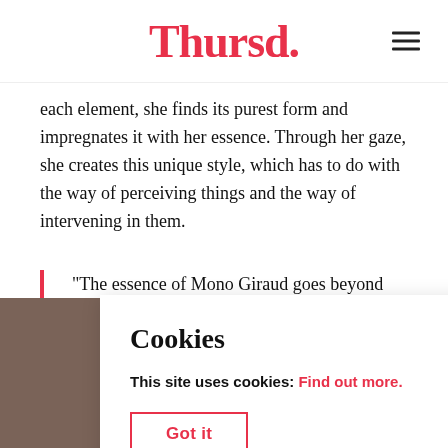Thursd.
each element, she finds its purest form and impregnates it with her essence. Through her gaze, she creates this unique style, which has to do with the way of perceiving things and the way of intervening in them.
"The essence of Mono Giraud goes beyond things, it lies in the authentic and the personal. It is pure, free, and forceful."
[Figure (photo): Two-panel photo strip: left panel shows a figure near a dark pedestal/lamp in warm tones; right panel shows hands working with light-colored dough or clay material.]
Cookies
This site uses cookies: Find out more.
Got it